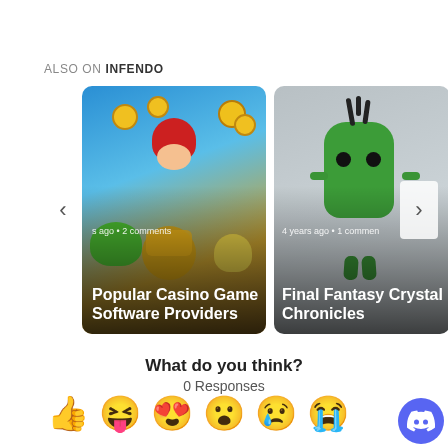ALSO ON INFENDO
[Figure (screenshot): Card carousel with two article thumbnails. Left card: Mario characters with title 'Popular Casino Game Software Providers', meta 's ago • 2 comments'. Right card: Cactuar character with title 'Final Fantasy Crystal Chronicles', meta '4 years ago • 1 commen'. Navigation arrows on left and right.]
What do you think?
0 Responses
[Figure (illustration): Row of reaction emoji: thumbs up, laughing face with tongue, heart eyes, surprised face, crying face, another crying/sad face]